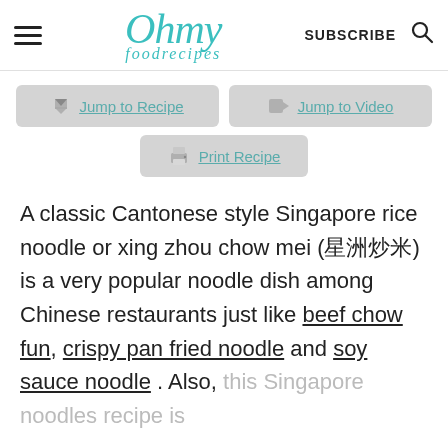Oh my foodrecipes — SUBSCRIBE
[Figure (screenshot): Navigation buttons: Jump to Recipe, Jump to Video, Print Recipe]
A classic Cantonese style Singapore rice noodle or xing zhou chow mei (星洲炒米) is a very popular noodle dish among Chinese restaurants just like beef chow fun, crispy pan fried noodle and soy sauce noodle . Also, this Singapore noodles recipe is